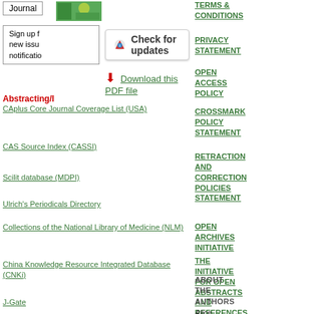Journal [button]
[Figure (photo): Green colored journal cover image thumbnail]
Sign up for new issue notifications
Check for updates [button]
Download this PDF file
Abstracting/I...
CAplus Core Journal Coverage List (USA)
CAS Source Index (CASSI)
Scilit database (MDPI)
Ulrich's Periodicals Directory
Collections of the National Library of Medicine (NLM)
China Knowledge Resource Integrated Database (CNKi)
J-Gate
TERMS & CONDITIONS
PRIVACY STATEMENT
OPEN ACCESS POLICY
CROSSMARK POLICY STATEMENT
RETRACTION AND CORRECTION POLICIES STATEMENT
OPEN ARCHIVES INITIATIVE
THE INITIATIVE FOR OPEN ABSTRACTS AND REFERENCES
ABOUT THE AUTHORS
Alice Prudente
Borges B...